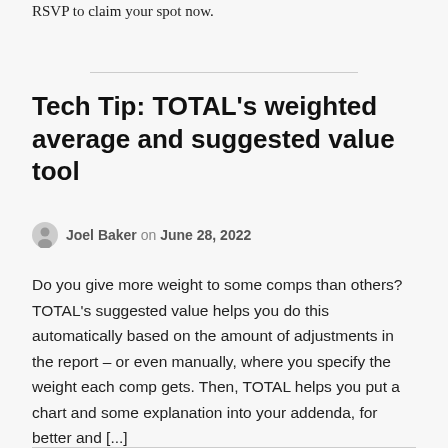RSVP to claim your spot now.
Tech Tip: TOTAL's weighted average and suggested value tool
Joel Baker on June 28, 2022
Do you give more weight to some comps than others? TOTAL's suggested value helps you do this automatically based on the amount of adjustments in the report – or even manually, where you specify the weight each comp gets. Then, TOTAL helps you put a chart and some explanation into your addenda, for better and [...]